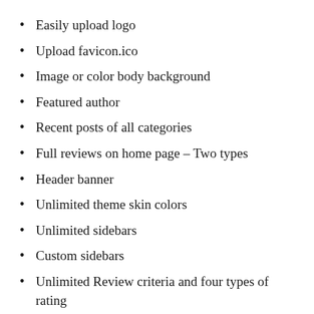Easily upload logo
Upload favicon.ico
Image or color body background
Featured author
Recent posts of all categories
Full reviews on home page – Two types
Header banner
Unlimited theme skin colors
Unlimited sidebars
Custom sidebars
Unlimited Review criteria and four types of rating